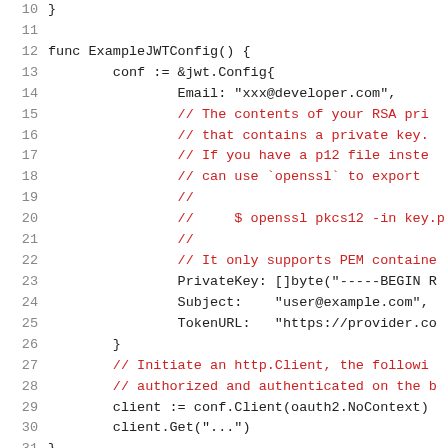[Figure (screenshot): Code snippet showing Go function ExampleJWTConfig() with JWT configuration including Email, PrivateKey, Subject, TokenURL fields and comments explaining RSA private key usage, plus client initialization code. Lines 10-31 visible.]